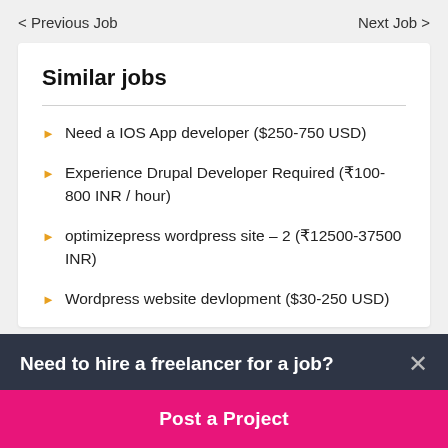< Previous Job    Next Job >
Similar jobs
Need a IOS App developer ($250-750 USD)
Experience Drupal Developer Required (₹100-800 INR / hour)
optimizepress wordpress site – 2 (₹12500-37500 INR)
Wordpress website devlopment ($30-250 USD)
Need to hire a freelancer for a job?
Post a Project